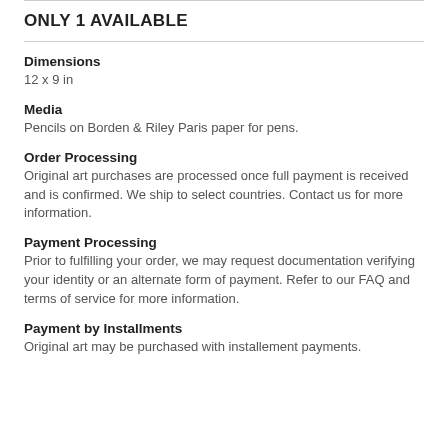ONLY 1 AVAILABLE
Dimensions
12 x 9 in
Media
Pencils on Borden & Riley Paris paper for pens.
Order Processing
Original art purchases are processed once full payment is received and is confirmed. We ship to select countries. Contact us for more information.
Payment Processing
Prior to fulfilling your order, we may request documentation verifying your identity or an alternate form of payment. Refer to our FAQ and terms of service for more information.
Payment by Installments
Original art may be purchased with installement payments.